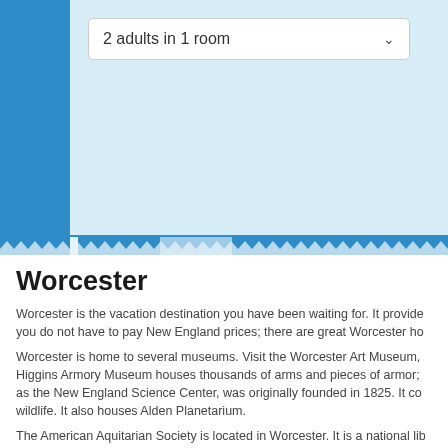[Figure (screenshot): Booking widget dropdown showing '2 adults in 1 room' with a blue background and light blue inner panel]
Worcester
Worcester is the vacation destination you have been waiting for. It provides you do not have to pay New England prices; there are great Worcester ho
Worcester is home to several museums. Visit the Worcester Art Museum, Higgins Armory Museum houses thousands of arms and pieces of armor; as the New England Science Center, was originally founded in 1825. It co wildlife. It also houses Alden Planetarium.
The American Aquitarian Society is located in Worcester. It is a national lib
Bancroft Tower was built in 1900, although it looks like an ancient castle. W
Tower Hill Botanic Garden provides beautiful foliage throughout the year, b beauty.